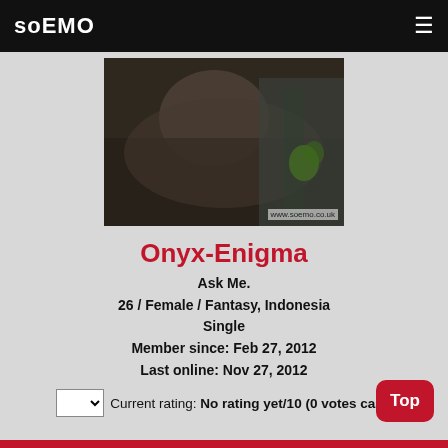soEMO
[Figure (photo): Profile photo of user Onyx-Enigma, dark moody image showing a person with long hair lying down, with a watermark reading www.soemo.co.uk]
Onyx-Enigma
Ask Me.
26 / Female / Fantasy, Indonesia
Single
Member since: Feb 27, 2012
Last online: Nov 27, 2012
Current rating: No rating yet/10 (0 votes cast)